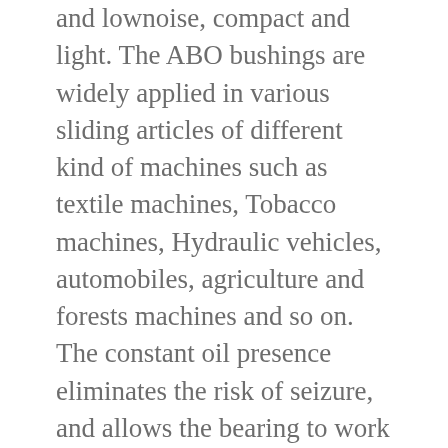and lownoise, compact and light. The ABO bushings are widely applied in various sliding articles of different kind of machines such as textile machines, Tobacco machines, Hydraulic vehicles, automobiles, agriculture and forests machines and so on. The constant oil presence eliminates the risk of seizure, and allows the bearing to work during thousands of hours without wear. Self-lubricating bearings save time and money on preventative maintenance, and require no hazardous waste from the lubricant, disposal, or cleanup to handle. Self-lubrication has several advantages over traditional lubricated bearings. We take pride in the fact that our bi-metal and polymer materials have proven themselves in these applications making them key components to our customers who know they can rely on CSB quality. We are leading Manufacturer of Steel Bushes.Depending on the application, we offer guide elements for self-assembly of custom-made die sets or devices in various designs. Lubricating properties from an